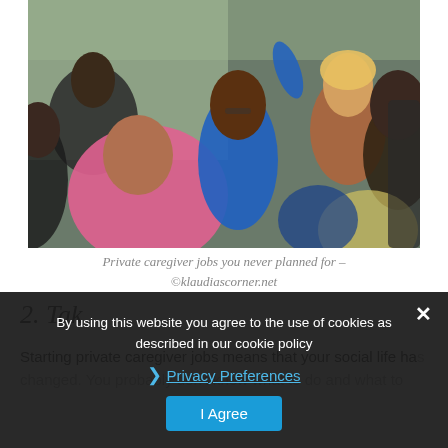[Figure (photo): Group of people in a classroom or meeting setting. A woman wearing glasses and a blue top is prominently visible, raising her hand. Other participants are seated around her. A woman with blonde hair is smiling in the background. The scene appears to be a caregiver or community training session.]
Private caregiver jobs you never planned for – ©klaudiascorner.net
2. Tak
Starting private caregiver jobs means that your social life has changed. You probably don't know what to do and what to
By using this website you agree to the use of cookies as described in our cookie policy
Privacy Preferences
I Agree